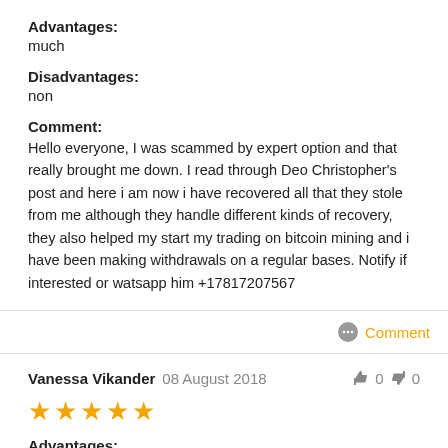Advantages:
much
Disadvantages:
non
Comment:
Hello everyone, I was scammed by expert option and that really brought me down. I read through Deo Christopher's post and here i am now i have recovered all that they stole from me although they handle different kinds of recovery, they also helped my start my trading on bitcoin mining and i have been making withdrawals on a regular bases. Notify if interested or watsapp him +17817207567
Comment
Vanessa Vikander 08 August 2018
0 0
Advantages:
low commision